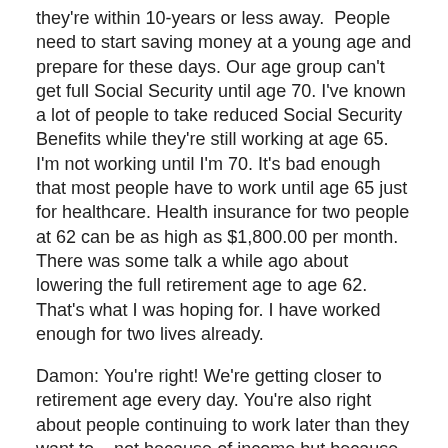they're within 10-years or less away. People need to start saving money at a young age and prepare for these days. Our age group can't get full Social Security until age 70. I've known a lot of people to take reduced Social Security Benefits while they're still working at age 65. I'm not working until I'm 70. It's bad enough that most people have to work until age 65 just for healthcare. Health insurance for two people at 62 can be as high as $1,800.00 per month. There was some talk a while ago about lowering the full retirement age to age 62. That's what I was hoping for. I have worked enough for two lives already.
Damon: You're right! We're getting closer to retirement age every day. You're also right about people continuing to work later than they want to – not because of income but because of the high cost of health insurance.
You can collect full Social Security at age 67. If you wait until age 70 – you get an 8 percent increase per year each year you wait past age 67. If you take Social Security